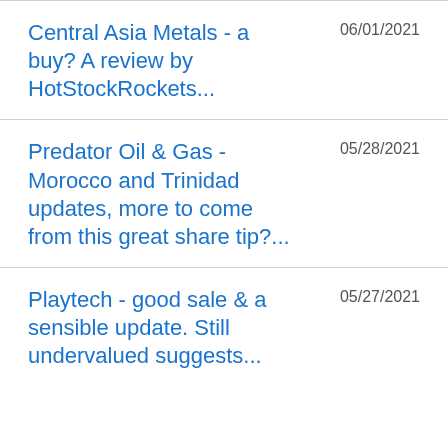Central Asia Metals - a buy? A review by HotStockRockets... | 06/01/2021
Predator Oil & Gas - Morocco and Trinidad updates, more to come from this great share tip?... | 05/28/2021
Playtech - good sale & a sensible update. Still undervalued suggests... | 05/27/2021